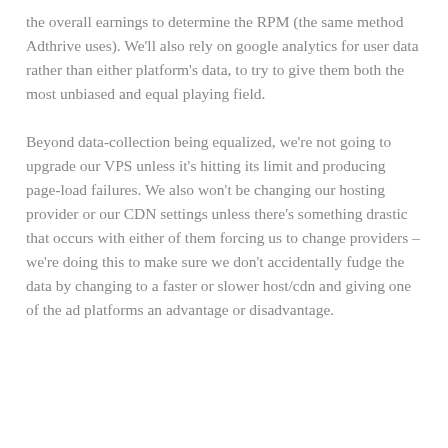the overall earnings to determine the RPM (the same method Adthrive uses). We'll also rely on google analytics for user data rather than either platform's data, to try to give them both the most unbiased and equal playing field.
Beyond data-collection being equalized, we're not going to upgrade our VPS unless it's hitting its limit and producing page-load failures. We also won't be changing our hosting provider or our CDN settings unless there's something drastic that occurs with either of them forcing us to change providers – we're doing this to make sure we don't accidentally fudge the data by changing to a faster or slower host/cdn and giving one of the ad platforms an advantage or disadvantage.